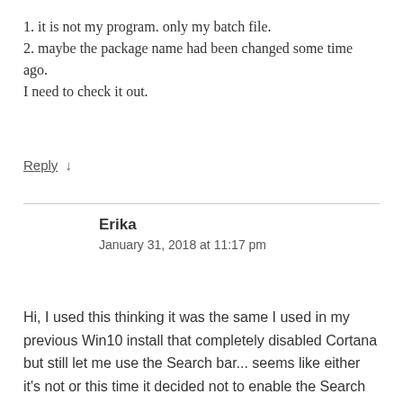1. it is not my program. only my batch file.
2. maybe the package name had been changed some time ago.
I need to check it out.
Reply ↓
Erika
January 31, 2018 at 11:17 pm
Hi, I used this thinking it was the same I used in my previous Win10 install that completely disabled Cortana but still let me use the Search bar... seems like either it's not or this time it decided not to enable the Search bar. Is there any workaround or way to use something like the Search bar